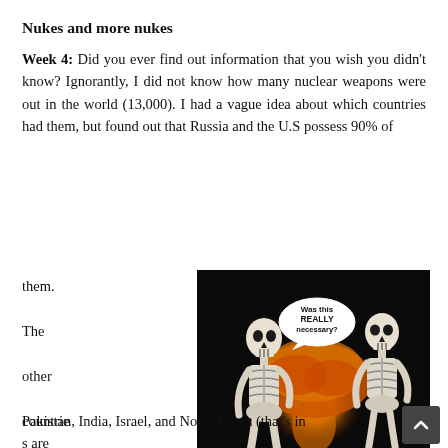Nukes and more nukes
Week 4: Did you ever find out information that you wish you didn't know? Ignorantly, I did not know how many nuclear weapons were out in the world (13,000). I had a vague idea about which countries had them, but found out that Russia and the U.S possess 90% of them. The other countries are China, France, U.K, Pakistan, India, Israel, and North Korea (that's in
[Figure (illustration): Two cartoon skeletons facing each other with a nuclear explosion mushroom cloud between them. A speech bubble reads 'Was this REALLY necessary?' on a dark background.]